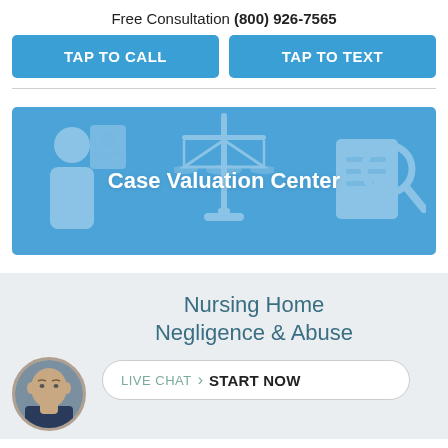Free Consultation (800) 926-7565
TAP TO CALL
TAP TO TEXT
[Figure (illustration): Blue banner with semi-transparent icons of a person, scales of justice, and a magnifying glass over a document. White bold text reads 'Case Valuation Center'.]
Nursing Home Negligence & Abuse
[Figure (photo): Circular avatar photo of a bald man in a suit jacket, used for the live chat prompt.]
LIVE CHAT  START NOW